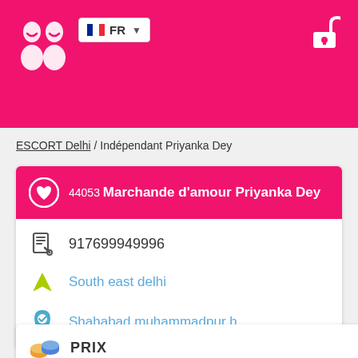[Figure (logo): Website logo with two figure icons in white on pink background]
[Figure (screenshot): French flag FR language selector dropdown]
[Figure (illustration): Unlock/lock icon in white on pink background]
ESCORT Delhi / Indépendant Priyanka Dey
44053 Marchande d'amour Priyanka Dey
917699949996
South east delhi
Shahabad muhammadpur h
PRIX